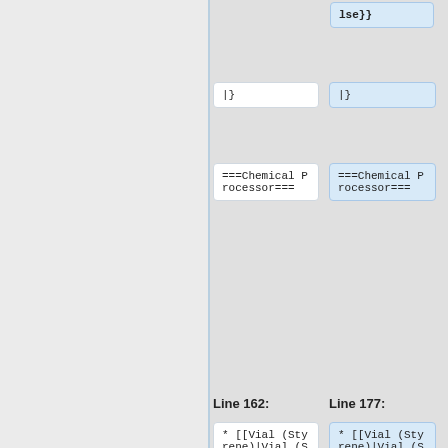lse}}
|}
|}
===Chemical Processor===
===Chemical Processor===
Line 162:
Line 177:
* [[Vial (Styrene)|Vial (Styrene)]]
* [[Vial (Styrene)|Vial (Styrene)]]
* [[Vial (Butadiene)|Vial (Butadiene)]]
* [[Vial (Butadiene)|Vial (Butadiene)]]